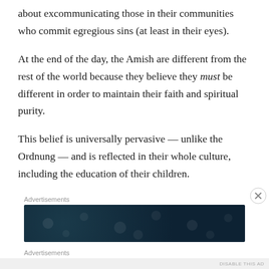about excommunicating those in their communities who commit egregious sins (at least in their eyes).
At the end of the day, the Amish are different from the rest of the world because they believe they must be different in order to maintain their faith and spiritual purity.
This belief is universally pervasive — unlike the Ordnung — and is reflected in their whole culture, including the education of their children.
Advertisements
[Figure (other): Dark teal advertisement banner with dot pattern]
Advertisements
[Figure (other): Victoria's Secret advertisement banner with pink background, model photo, 'SHOP THE COLLECTION' text, and 'SHOP NOW' button]